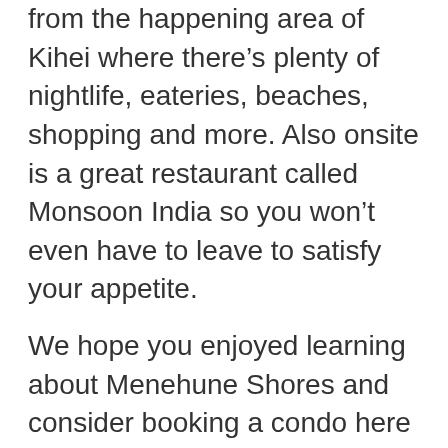from the happening area of Kihei where there's plenty of nightlife, eateries, beaches, shopping and more. Also onsite is a great restaurant called Monsoon India so you won't even have to leave to satisfy your appetite.
We hope you enjoyed learning about Menehune Shores and consider booking a condo here for your next vacation. If you're still interested in seeing what else is out there for rent on Maui, then take a few minutes to look through our current listings. We have everything from two bedroom and three bedroom condos to special deals. So whether you're looking for a lot of space to